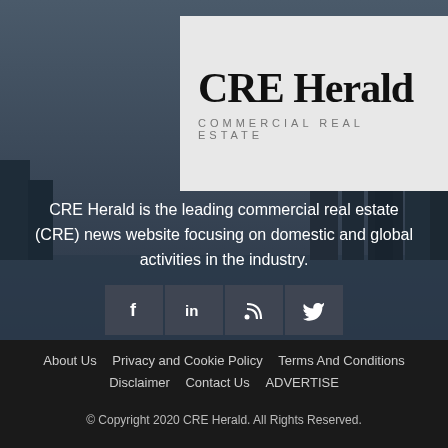[Figure (logo): CRE Herald logo with 'Commercial Real Estate' subtitle on light gray background]
CRE Herald is the leading commercial real estate (CRE) news website focusing on domestic and global activities in the industry.
[Figure (illustration): Social media icon buttons: Facebook (f), LinkedIn (in), RSS feed, Twitter (bird icon) on dark semi-transparent background]
About Us   Privacy and Cookie Policy   Terms And Conditions   Disclaimer   Contact Us   ADVERTISE
© Copyright 2020 CRE Herald. All Rights Reserved.